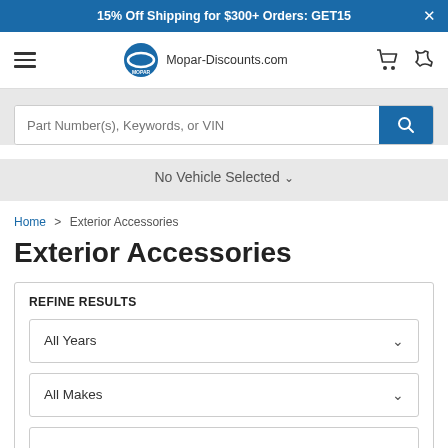15% Off Shipping for $300+ Orders: GET15
[Figure (logo): Mopar-Discounts.com navigation bar with hamburger menu, Mopar logo, site name, cart and phone icons]
[Figure (screenshot): Search bar with placeholder text 'Part Number(s), Keywords, or VIN' and blue search button]
No Vehicle Selected
Home > Exterior Accessories
Exterior Accessories
REFINE RESULTS
All Years
All Makes